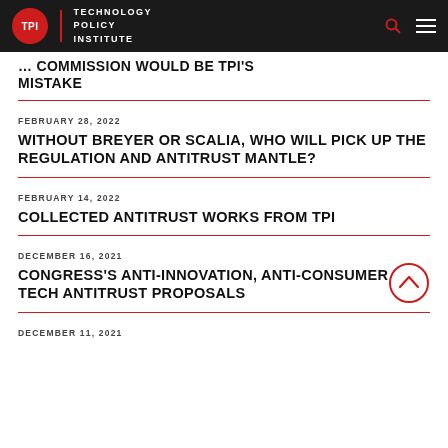TPI | Technology Policy Institute
COMMISSION WOULD BE TPI'S MISTAKE
FEBRUARY 28, 2022
WITHOUT BREYER OR SCALIA, WHO WILL PICK UP THE REGULATION AND ANTITRUST MANTLE?
FEBRUARY 14, 2022
COLLECTED ANTITRUST WORKS FROM TPI
DECEMBER 16, 2021
CONGRESS'S ANTI-INNOVATION, ANTI-CONSUMER BIG TECH ANTITRUST PROPOSALS
DECEMBER 11, 2021